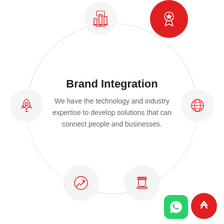[Figure (infographic): Brand Integration circular infographic with 6 icons arranged around a large circle: bar chart icon (top), award/star icon (top right, red background), rocket icon (left), globe icon (right), growth chart circle icon (bottom left), chess rook icon (bottom right). Center text reads 'Brand Integration' with a description paragraph.]
Brand Integration
We have the technology and industry expertise to develop solutions that can connect people and businesses.